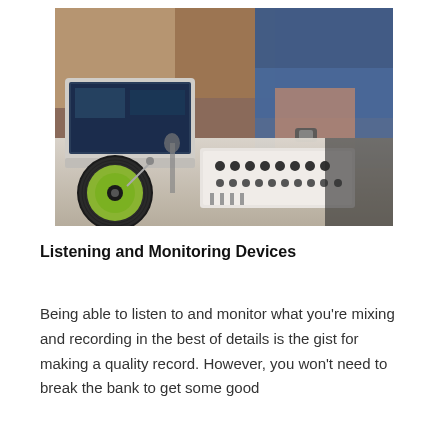[Figure (photo): A DJ or music producer working at a table with a laptop, DJ controller with knobs and faders, vinyl record player with a green/yellow record, and audio equipment. The person is wearing a watch and appears to be adjusting the controller. Background shows other people and colorful fabric.]
Listening and Monitoring Devices
Being able to listen to and monitor what you're mixing and recording in the best of details is the gist for making a quality record. However, you won't need to break the bank to get some good